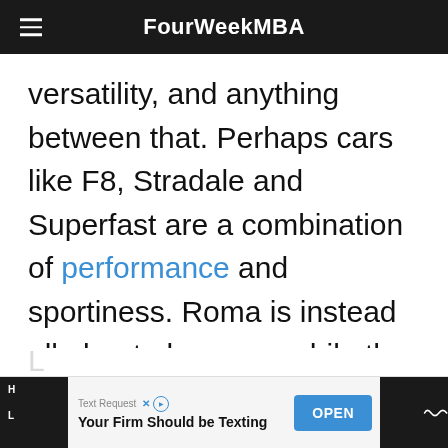FourWeekMBA
versatility, and anything between that. Perhaps cars like F8, Stradale and Superfast are a combination of performance and sportiness. Roma is instead all about elegance, while the GTC4 Lusso is about elegance and comfort.
[Figure (screenshot): Advertisement banner at the bottom: Text Request ad with headline 'Your Firm Should be Texting' and an OPEN button in blue.]